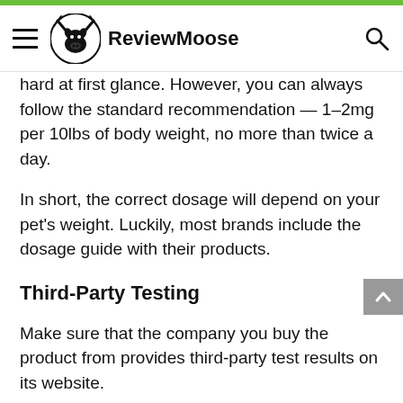ReviewMoose
hard at first glance. However, you can always follow the standard recommendation — 1–2mg per 10lbs of body weight, no more than twice a day.
In short, the correct dosage will depend on your pet's weight. Luckily, most brands include the dosage guide with their products.
Third-Party Testing
Make sure that the company you buy the product from provides third-party test results on its website.
Where to Buy CBD Oil for Dogs in Canada?